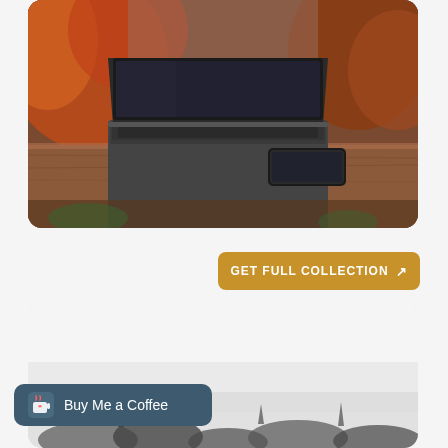[Figure (photo): Laptop computer open on a rustic wooden table with a smartphone beside it, autumn foliage in the background]
GET FULL COLLECTION ↗
[Figure (photo): Misty winter landscape, mostly white/grey with dark silhouettes of trees or bushes at the bottom]
Buy Me a Coffee